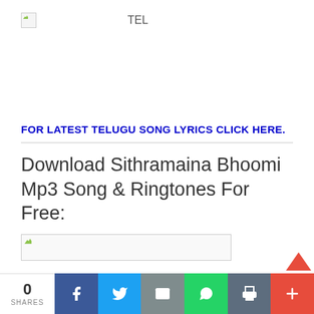[Figure (logo): Broken image placeholder with TEL text beside it]
FOR LATEST TELUGU SONG LYRICS CLICK HERE.
Download Sithramaina Bhoomi Mp3 Song & Ringtones For Free:
[Figure (other): Broken image placeholder for mp3 download]
0 SHARES | Facebook | Twitter | Email | WhatsApp | Print | More